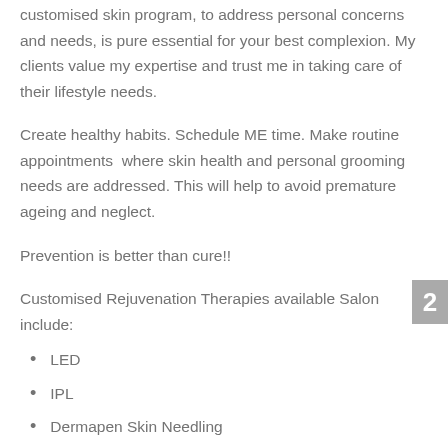customised skin program, to address personal concerns and needs, is pure essential for your best complexion. My clients value my expertise and trust me in taking care of their lifestyle needs.
Create healthy habits. Schedule ME time. Make routine appointments  where skin health and personal grooming needs are addressed. This will help to avoid premature ageing and neglect.
Prevention is better than cure!!
Customised Rejuvenation Therapies available Salon include:
LED
IPL
Dermapen Skin Needling